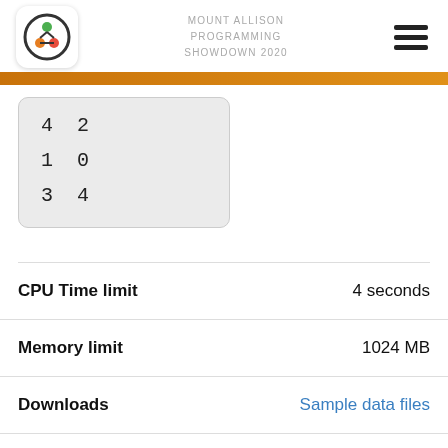MOUNT ALLISON PROGRAMMING SHOWDOWN 2020
[Figure (other): Code box showing sample input data: three rows '4 2', '1 0', '3 4']
CPU Time limit	4 seconds
Memory limit	1024 MB
Downloads	Sample data files